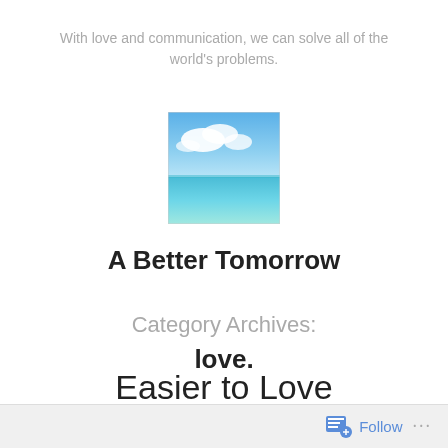With love and communication, we can solve all of the world's problems.
[Figure (photo): Small square photo of a tropical beach scene with blue ocean water, white clouds, and a clear sky]
A Better Tomorrow
Category Archives: love.
Easier to Love
Follow ...